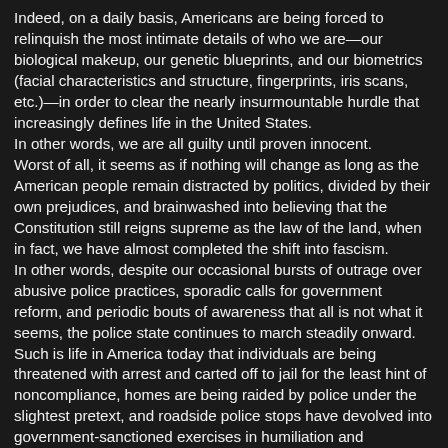Indeed, on a daily basis, Americans are being forced to relinquish the most intimate details of who we are—our biological makeup, our genetic blueprints, and our biometrics (facial characteristics and structure, fingerprints, iris scans, etc.)—in order to clear the nearly insurmountable hurdle that increasingly defines life in the United States.
In other words, we are all guilty until proven innocent.
Worst of all, it seems as if nothing will change as long as the American people remain distracted by politics, divided by their own prejudices, and brainwashed into believing that the Constitution still reigns supreme as the law of the land, when in fact, we have almost completed the shift into fascism.
In other words, despite our occasional bursts of outrage over abusive police practices, sporadic calls for government reform, and periodic bouts of awareness that all is not what it seems, the police state continues to march steadily onward.
Such is life in America today that individuals are being threatened with arrest and carted off to jail for the least hint of noncompliance, homes are being raided by police under the slightest pretext, and roadside police stops have devolved into government-sanctioned exercises in humiliation and degradation with a complete disregard for